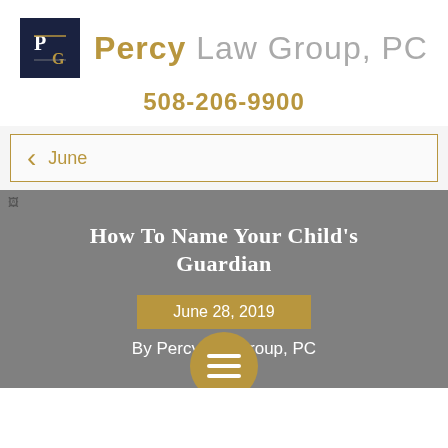[Figure (logo): Percy Law Group, PC logo with dark navy square containing stylized PG monogram and firm name in gold and gray text]
508-206-9900
< June
How to Name Your Child's Guardian
June 28, 2019
By Percy Law Group, PC